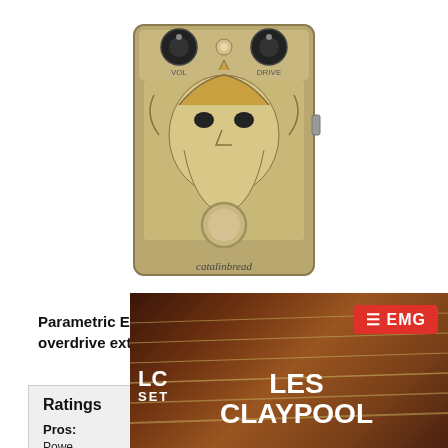[Figure (photo): Catalinbread guitar effects pedal with ornate Norse/Viking-themed design showing a bearded figure/deity, with VOL and DRIVE knobs at top, a footswitch, and Catalinbread branding at the bottom. Gold/tan colored enclosure.]
Parametric EQ power makes an impressive overdrive extra flexible.
Ratings
Pros:
Tones
Powe... EQ c... soun...
Cons:
[Figure (photo): Advertisement overlay: LC SET / LES CLAYPOOL / EMG guitar pickups ad with guitar strings background]